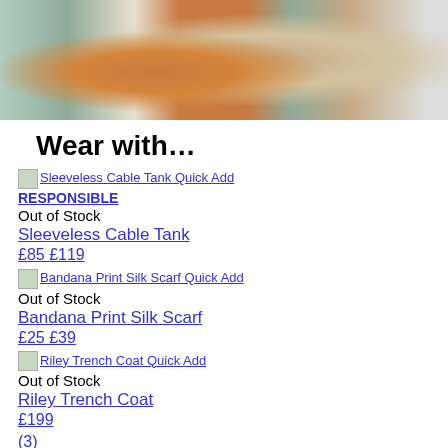[Figure (photo): Hero image showing fabric swatches and yarn including teal/green fabrics, an orange twisted yarn skein, and beige/cream textured fabric samples on a light background]
Wear with…
Sleeveless Cable Tank Quick Add | RESPONSIBLE | Out of Stock | Sleeveless Cable Tank | £85 £119
Bandana Print Silk Scarf Quick Add | Out of Stock | Bandana Print Silk Scarf | £25 £39
Riley Trench Coat Quick Add | Out of Stock | Riley Trench Coat | £199 | (3)